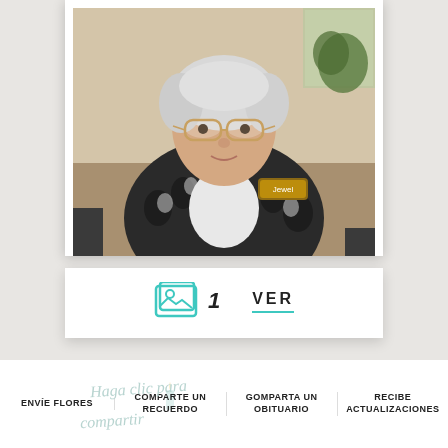[Figure (photo): Elderly woman with white hair and glasses wearing a black and white floral jacket with a name tag, seated indoors]
1
VER
ENVÍE FLORES
COMPARTE UN RECUERDO
GOMPARTA UN OBITUARIO
RECIBE ACTUALIZACIONES